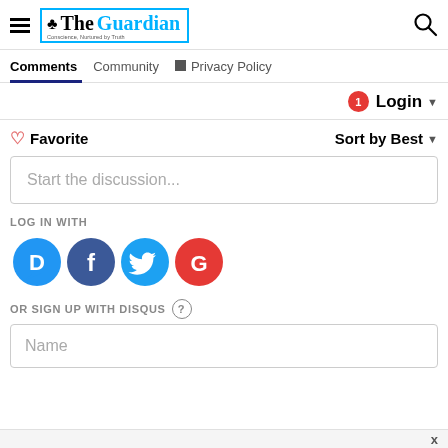The Guardian
Comments | Community | Privacy Policy
Login ▾
♡ Favorite   Sort by Best ▾
Start the discussion...
LOG IN WITH
[Figure (logo): Social login icons: Disqus (D), Facebook (f), Twitter bird, Google (G)]
OR SIGN UP WITH DISQUS ?
Name